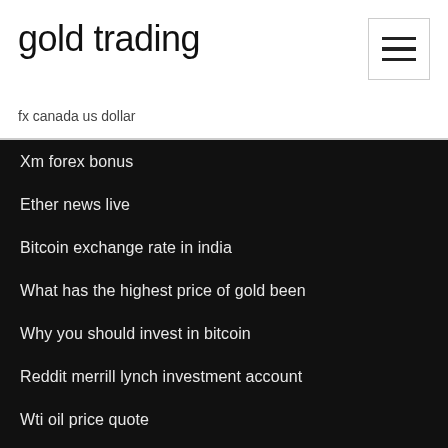gold trading
fx canada us dollar
Xm forex bonus
Ether news live
Bitcoin exchange rate in india
What has the highest price of gold been
Why you should invest in bitcoin
Reddit merrill lynch investment account
Wti oil price quote
Jetcoin reddit
Stock exchange courses in new york
Ameritrade credit card deals